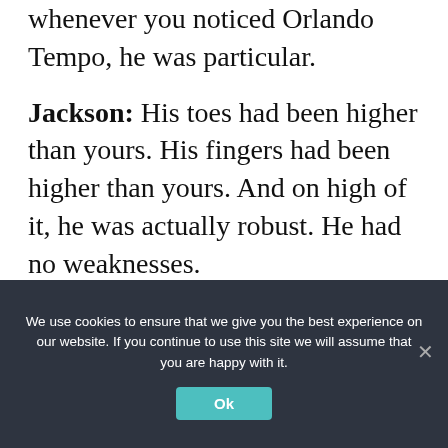whenever you noticed Orlando Tempo, he was particular.
Jackson: His toes had been higher than yours. His fingers had been higher than yours. And on high of it, he was actually robust. He had no weaknesses.
Conley: The one factor you inform the defensive linemen going up in opposition to him is, “You have to attempt to work the sting. Do not you dare get face-up on the man. Otherwise you’re finished.”
We use cookies to ensure that we give you the best experience on our website. If you continue to use this site we will assume that you are happy with it.